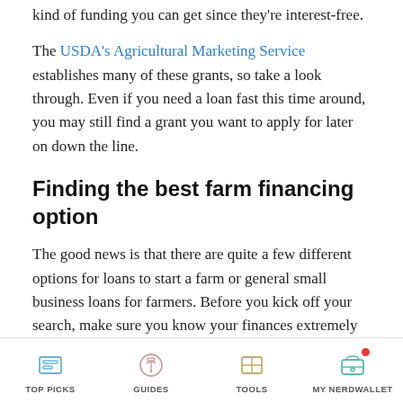kind of funding you can get since they're interest-free.
The USDA's Agricultural Marketing Service establishes many of these grants, so take a look through. Even if you need a loan fast this time around, you may still find a grant you want to apply for later on down the line.
Finding the best farm financing option
The good news is that there are quite a few different options for loans to start a farm or general small business loans for farmers. Before you kick off your search, make sure you know your finances extremely well, including your business credit score, your bank balances and any outstanding debts. These will all
TOP PICKS   GUIDES   TOOLS   MY NERDWALLET